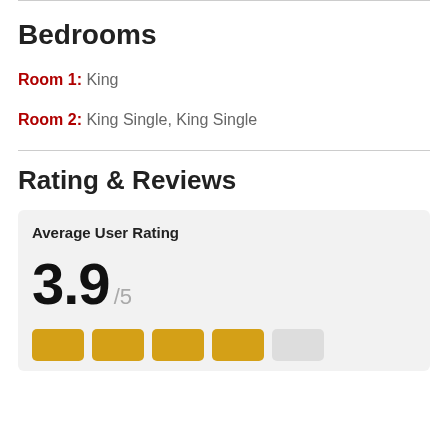Bedrooms
Room 1: King
Room 2: King Single, King Single
Rating & Reviews
Average User Rating
3.9 /5